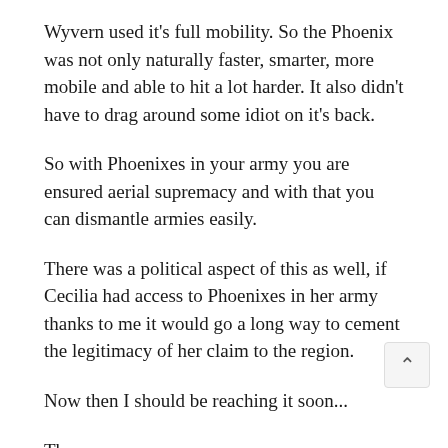Wyvern used it's full mobility. So the Phoenix was not only naturally faster, smarter, more mobile and able to hit a lot harder. It also didn't have to drag around some idiot on it's back.
So with Phoenixes in your army you are ensured aerial supremacy and with that you can dismantle armies easily.
There was a political aspect of this as well, if Cecilia had access to Phoenixes in her army thanks to me it would go a long way to cement the legitimacy of her claim to the region.
Now then I should be reaching it soon...
There you are...
I watched as the Phoenix with a body of white flames